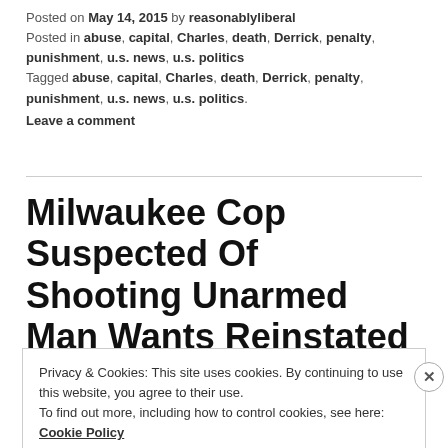Posted on May 14, 2015 by reasonablyliberal Posted in abuse, capital, Charles, death, Derrick, penalty, punishment, u.s. news, u.s. politics Tagged abuse, capital, Charles, death, Derrick, penalty, punishment, u.s. news, u.s. politics. Leave a comment
Milwaukee Cop Suspected Of Shooting Unarmed Man Wants Reinstated
Privacy & Cookies: This site uses cookies. By continuing to use this website, you agree to their use. To find out more, including how to control cookies, see here: Cookie Policy
Close and accept